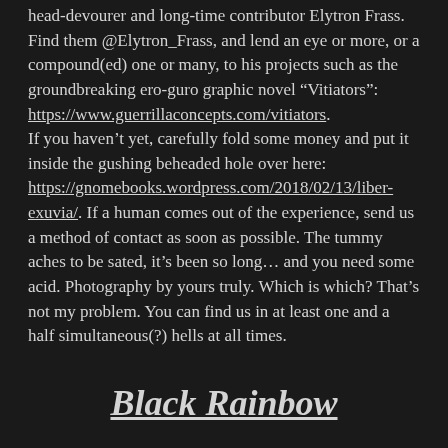head-devourer and long-time contributor Elytron Frass. Find them @Elytron_Frass, and lend an eye or more, or a compound(ed) one or many, to his projects such as the groundbreaking ero-guro graphic novel "Vitiators": https://www.guerrillaconcepts.com/vitiators. If you haven't yet, carefully fold some money and put it inside the gushing beheaded hole over here: https://gnomebooks.wordpress.com/2018/02/13/liber-exuvia/. If a human comes out of the experience, send us a method of contact as soon as possible. The tummy aches to be sated, it's been so long… and you need some acid. Photography by yours truly. Which is which? That's not my problem. You can find us in at least one and a half simultaneous(?) hells at all times.
Black Rainbow